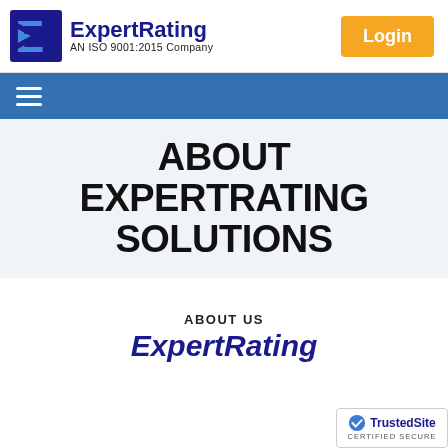[Figure (logo): ExpertRating logo with stylized 'E' icon in blue and company name in dark blue, with tagline 'AN ISO 9001:2015 Company']
[Figure (other): Orange Login button in top right corner]
[Figure (other): Blue navigation bar with hamburger menu icon]
ABOUT EXPERTRATING SOLUTIONS
ABOUT US
ExpertRating
[Figure (logo): TrustedSite Certified Secure badge in bottom right corner]